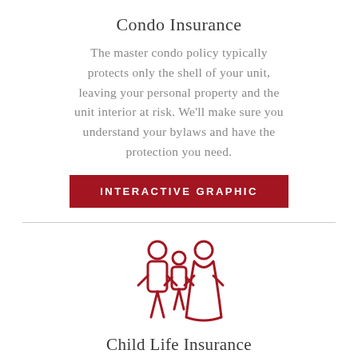Condo Insurance
The master condo policy typically protects only the shell of your unit, leaving your personal property and the unit interior at risk. We'll make sure you understand your bylaws and have the protection you need.
[Figure (infographic): Red button labeled INTERACTIVE GRAPHIC]
[Figure (illustration): Red outline icon of a family with two adults and one child]
Child Life Insurance
No one wants to consider the unthinkable, so talking about child life insurance can be difficult. But, there are